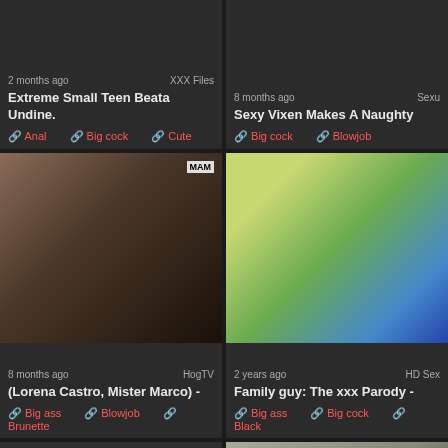[Figure (screenshot): Top-left video card: Extreme Small Teen Beata Undine, 2 months ago, XXX Files, tags: Anal, Big cock, Cute]
[Figure (screenshot): Top-right video card: Sexy Vixen Makes A Naughty, 8 months ago, Sexu, tags: Big cock, Blowjob]
[Figure (photo): Middle-left video thumbnail: brunette woman looking down, duration 19:37, 8 months ago, HogTV, (Lorena Castro, Mister Marco), tags: Big ass, Blowjob, Brunette]
[Figure (photo): Middle-right video thumbnail: man in bowler hat and green shirt, duration 1:37:33, 2 years ago, HD Sex, Family guy: The xxx Parody, tags: Big ass, Big cock, Black]
[Figure (photo): Bottom-left video card: dark/blank thumbnail, no duration visible]
[Figure (photo): Bottom-right video thumbnail: retro scene with blonde woman and two men, duration 1:28:12]